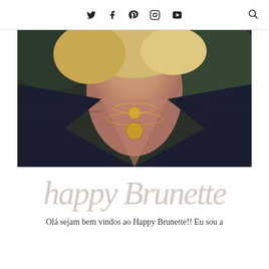Social media icons: Twitter, Facebook, Pinterest, Instagram, YouTube; Search icon
[Figure (photo): Close-up photo of a person wearing a deep V-neck dark navy knit top with two layered gold coin necklaces. The person has blond hair. Green foliage visible in background.]
[Figure (logo): Happy Brunette script logo in light gray/beige cursive handwritten style lettering]
Olá sejam bem vindos ao Happy Brunette!! Eu sou a